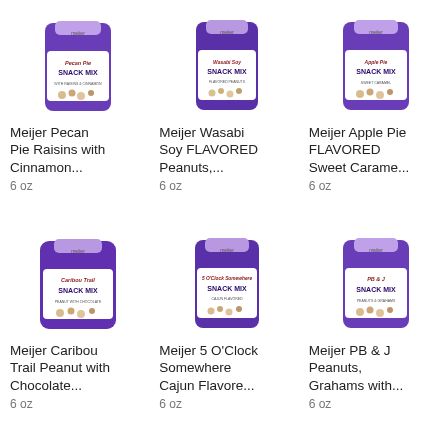[Figure (photo): Meijer branded purple snack mix bag - Pecan Pie Raisins with Cinnamon, 6 oz]
Meijer Pecan Pie Raisins with Cinnamon...
6 oz
[Figure (photo): Meijer branded purple snack mix bag - Wasabi Soy Flavored Peanuts, 6 oz]
Meijer Wasabi Soy FLAVORED Peanuts,...
6 oz
[Figure (photo): Meijer branded purple snack mix bag - Apple Pie Flavored Sweet Caramel, 6 oz]
Meijer Apple Pie FLAVORED Sweet Carame...
6 oz
[Figure (photo): Meijer branded purple snack mix bag - Caribou Trail Peanut with Chocolate, 6 oz]
Meijer Caribou Trail Peanut with Chocolate...
6 oz
[Figure (photo): Meijer branded purple snack mix bag - 5 O'Clock Somewhere Cajun Flavored, 6 oz]
Meijer 5 O'Clock Somewhere Cajun Flavore...
6 oz
[Figure (photo): Meijer branded purple snack mix bag - PB & J Peanuts, Grahams with, 6 oz]
Meijer PB & J Peanuts, Grahams with...
6 oz